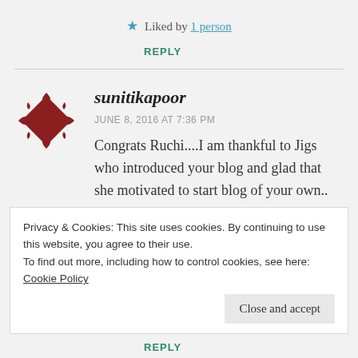★ Liked by 1 person
REPLY
sunitikapoor
JUNE 8, 2016 AT 7:36 PM
Congrats Ruchi....I am thankful to Jigs who introduced your blog and glad that she motivated to start blog of your own.. waiting to
Privacy & Cookies: This site uses cookies. By continuing to use this website, you agree to their use.
To find out more, including how to control cookies, see here: Cookie Policy
Close and accept
REPLY